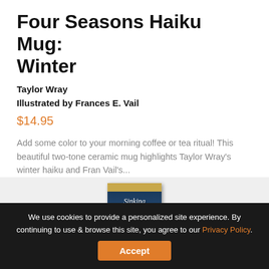Four Seasons Haiku Mug: Winter
Taylor Wray
Illustrated by Frances E. Vail
$14.95
Add some color to your morning coffee or tea ritual! This beautiful two-tone ceramic mug highlights Taylor Wray’s winter haiku and Fran Vail’s...
[Figure (illustration): Book cover for 'Sinking and Resurfacing' with dark blue tones and golden shimmer at bottom]
We use cookies to provide a personalized site experience. By continuing to use & browse this site, you agree to our Privacy Policy.
Accept